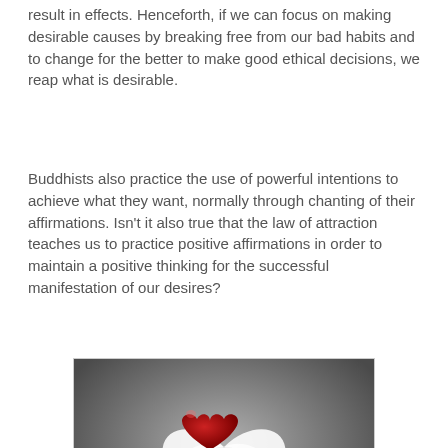result in effects. Henceforth, if we can focus on making desirable causes by breaking free from our bad habits and to change for the better to make good ethical decisions, we reap what is desirable.
Buddhists also practice the use of powerful intentions to achieve what they want, normally through chanting of their affirmations. Isn't it also true that the law of attraction teaches us to practice positive affirmations in order to maintain a positive thinking for the successful manifestation of our desires?
[Figure (photo): A black and white photo of an open hand holding a red heart with white wings, symbolizing love and freedom.]